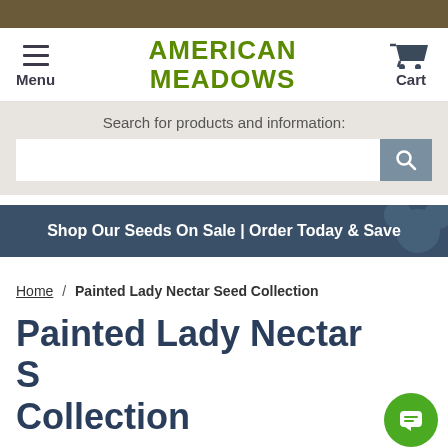American Meadows — Menu / Cart navigation header
Search for products and information:
Shop Our Seeds On Sale | Order Today & Save
Home / Painted Lady Nectar Seed Collection
Painted Lady Nectar Seed Collection